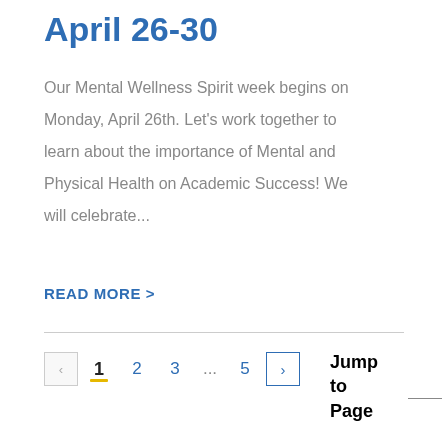April 26-30
Our Mental Wellness Spirit week begins on Monday, April 26th. Let's work together to learn about the importance of Mental and Physical Health on Academic Success! We will celebrate...
READ MORE >
1  2  3  ...  5  > | Jump to Page